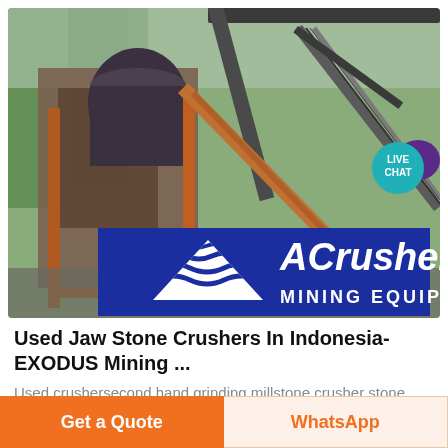[Figure (photo): Mining equipment / stone crusher machinery at an outdoor site with conveyor belts and heavy rusted steel frames. Bottom portion shows an overlaid blue banner with ACrusher logo (white triangle with wave lines) and text 'ACrusher MINING EQUIPMENT' on a dark blue background.]
[Figure (infographic): LIVE CHAT bubble in teal/cyan color with a purple speech bubble icon, positioned top-right over the photo.]
Used Jaw Stone Crushers In Indonesia- EXODUS Mining ...
Used crushersecond hand grinding millstone crusher stone crusher for sale searching to acquire or to heared i would like
Get a Quote
WhatsApp